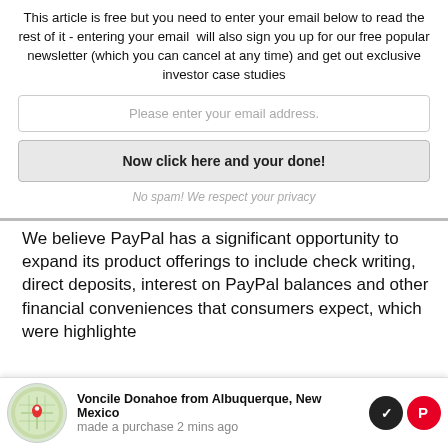This article is free but you need to enter your email below to read the rest of it - entering your email  will also sign you up for our free popular newsletter (which you can cancel at any time) and get out exclusive investor case studies
Please enter your email address.
Now click here and your done!
No spam! We respect your privacy
We believe PayPal has a significant opportunity to expand its product offerings to include check writing, direct deposits, interest on PayPal balances and other financial conveniences that consumers expect, which were highlighted
Voncile Donahoe from Albuquerque, New Mexico made a purchase 2 mins ago